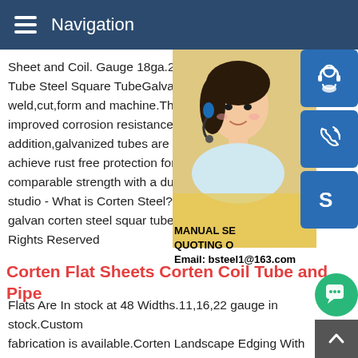Navigation
Sheet and Coil. Gauge 18ga.20ga.22ga.G Tube Steel Square TubeGalvanized squar weld,cut,form and machine.The galvanize improved corrosion resistance over other b addition,galvanized tubes are a lower cost achieve rust free protection for up to 30 ye comparable strength with a durable Corte studio - What is Corten Steel?What is Co galvan corten steel squar tube#169; 2014 Rights Reserved
[Figure (photo): Asian woman wearing headset, serving as customer support representative, with yellow/golden background]
[Figure (infographic): Blue icon buttons: headset/customer service icon, phone icon, Skype icon]
MANUAL SE QUOTING O Email: bsteel1@163.com
Corten Flat Sheets Corten Coil Tube and Pipe
Flats Are In stock at 48 Widths.11,16,22 gauge in stock.Custom fabrication is available.Corten Landscape Edging With Stakes fabricated ASTM A606-4 landscape edging with stakes offer a simple solution for that rustic look.Corten Planter Boxes Corte